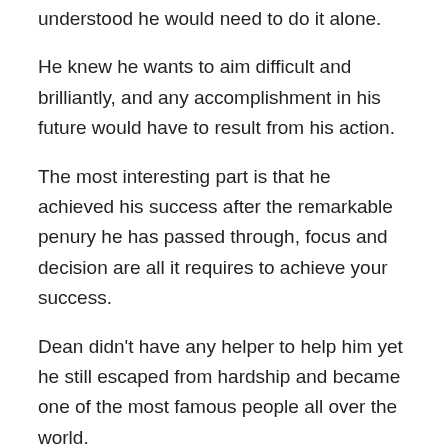understood he would need to do it alone.
He knew he wants to aim difficult and brilliantly, and any accomplishment in his future would have to result from his action.
The most interesting part is that he achieved his success after the remarkable penury he has passed through, focus and decision are all it requires to achieve your success.
Dean didn't have any helper to help him yet he still escaped from hardship and became one of the most famous people all over the world.
What's the lesson you have gained